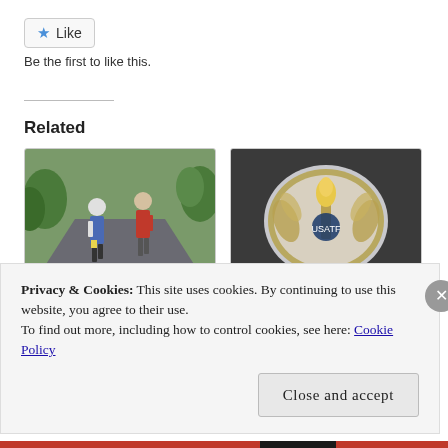[Figure (other): Like button with blue star icon and 'Like' label]
Be the first to like this.
Related
[Figure (photo): Two trail runners on a road surrounded by green trees, running away from the camera]
Inside Trail Post Therapy
28 Sep 2011
In "Commentary"
[Figure (photo): USATF award trophy — a silver and gold plaque with a torch and laurel wreath design]
USATF MUT Nominations (the-not-so soft pour)
Privacy & Cookies: This site uses cookies. By continuing to use this website, you agree to their use. To find out more, including how to control cookies, see here: Cookie Policy
Close and accept